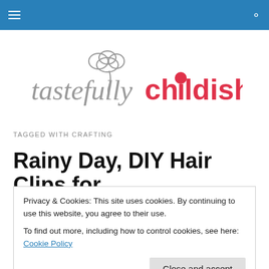Navigation bar with hamburger menu and search icon
[Figure (logo): Tastefully Childish logo — grey cursive 'tastefully' with a decorative tree/cloud icon, and pink bold 'childish' with a lollipop replacing the letter i]
TAGGED WITH CRAFTING
Rainy Day, DIY Hair Clips for
Privacy & Cookies: This site uses cookies. By continuing to use this website, you agree to their use.
To find out more, including how to control cookies, see here: Cookie Policy
[Close and accept]